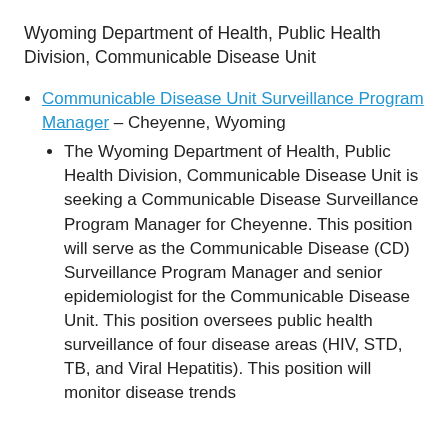Wyoming Department of Health, Public Health Division, Communicable Disease Unit
Communicable Disease Unit Surveillance Program Manager – Cheyenne, Wyoming
The Wyoming Department of Health, Public Health Division, Communicable Disease Unit is seeking a Communicable Disease Surveillance Program Manager for Cheyenne. This position will serve as the Communicable Disease (CD) Surveillance Program Manager and senior epidemiologist for the Communicable Disease Unit. This position oversees public health surveillance of four disease areas (HIV, STD, TB, and Viral Hepatitis). This position will monitor disease trends